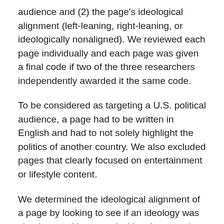audience and (2) the page's ideological alignment (left-leaning, right-leaning, or ideologically nonaligned). We reviewed each page individually and each page was given a final code if two of the three researchers independently awarded it the same code.
To be considered as targeting a U.S. political audience, a page had to be written in English and had to not solely highlight the politics of another country. We also excluded pages that clearly focused on entertainment or lifestyle content.
We determined the ideological alignment of a page by looking to see if an ideology was clearly stated in a page's title, about section, profile, or header pictures.
We coded pages as left-leaning if they identified as Democrat, liberal, left or left-leaning, pro-Biden, pro-Obama, pro-choice, pro-social equality and justice, pro-